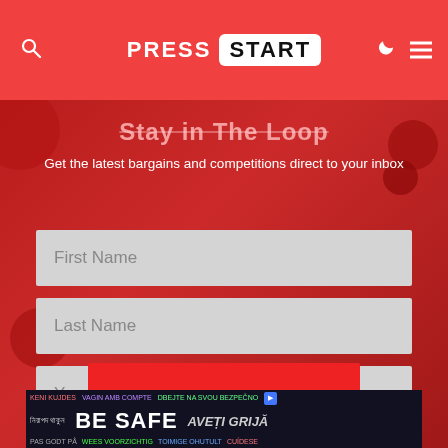PRESS START
Stay in The Loop
Get the latest bargains and competitions direct to your inbox
First Name
Last Name
Your Email
SIGN UP
[Figure (screenshot): Advertisement banner: BE SAFE multilingual safety message with play button icon]